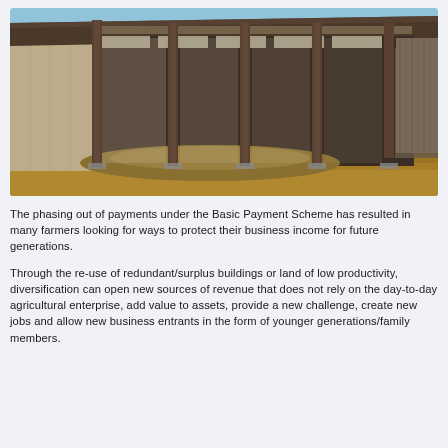[Figure (photo): Exterior photograph of a large agricultural steel barn/storage building with open front bays, corrugated metal cladding, brown steel frame columns, dirt/gravel floor, and a clear blue sky background.]
The phasing out of payments under the Basic Payment Scheme has resulted in many farmers looking for ways to protect their business income for future generations.
Through the re-use of redundant/surplus buildings or land of low productivity, diversification can open new sources of revenue that does not rely on the day-to-day agricultural enterprise, add value to assets, provide a new challenge, create new jobs and allow new business entrants in the form of younger generations/family members.